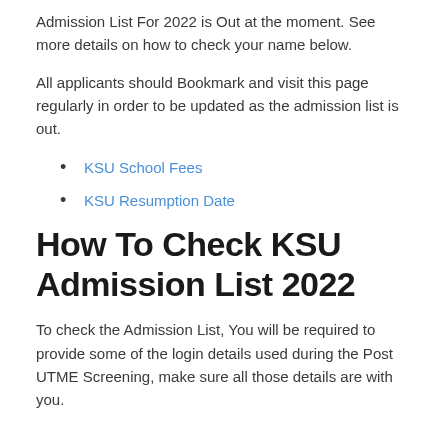Admission List For 2022 is Out at the moment. See more details on how to check your name below.
All applicants should Bookmark and visit this page regularly in order to be updated as the admission list is out.
KSU School Fees
KSU Resumption Date
How To Check KSU Admission List 2022
To check the Admission List, You will be required to provide some of the login details used during the Post UTME Screening, make sure all those details are with you.